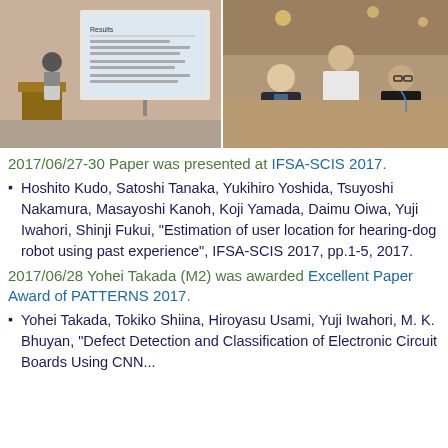[Figure (photo): Left photo: A person presenting at a podium in front of a projection screen showing slides with Japanese text.]
[Figure (photo): Right photo: Three men posing together in a restaurant/cafe setting.]
2017/06/27-30 Paper was presented at IFSA-SCIS 2017.
Hoshito Kudo, Satoshi Tanaka, Yukihiro Yoshida, Tsuyoshi Nakamura, Masayoshi Kanoh, Koji Yamada, Daimu Oiwa, Yuji Iwahori, Shinji Fukui, "Estimation of user location for hearing-dog robot using past experience", IFSA-SCIS 2017, pp.1-5, 2017.
2017/06/28 Yohei Takada (M2) was awarded Excellent Paper Award of PATTERNS 2017.
Yohei Takada, Tokiko Shiina, Hiroyasu Usami, Yuji Iwahori, M. K. Bhuyan, "Defect Detection and Classification of Electronic Circuit Boards Using CNN...